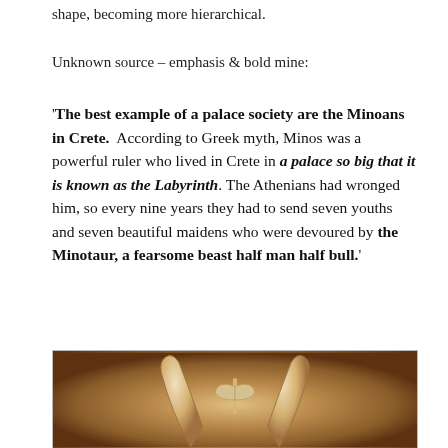shape, becoming more hierarchical.
Unknown source – emphasis & bold mine:
'The best example of a palace society are the Minoans in Crete. According to Greek myth, Minos was a powerful ruler who lived in Crete in a palace so big that it is known as the Labyrinth. The Athenians had wronged him, so every nine years they had to send seven youths and seven beautiful maidens who were devoured by the Minotaur, a fearsome beast half man half bull.'
[Figure (photo): Stone carving or relief depicting bull horns (horns of consecration) with a double axe, a Minoan religious symbol, carved in stone or terracotta with warm brown tones.]